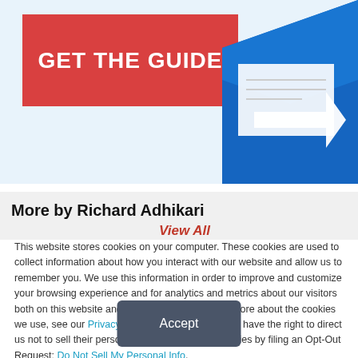[Figure (illustration): Red 'GET THE GUIDE' button on light blue background with blue envelope illustration on the right]
More by Richard Adhikari
View All
This website stores cookies on your computer. These cookies are used to collect information about how you interact with our website and allow us to remember you. We use this information in order to improve and customize your browsing experience and for analytics and metrics about our visitors both on this website and other media. To find out more about the cookies we use, see our Privacy Policy. California residents have the right to direct us not to sell their personal information to third parties by filing an Opt-Out Request: Do Not Sell My Personal Info.
Accept